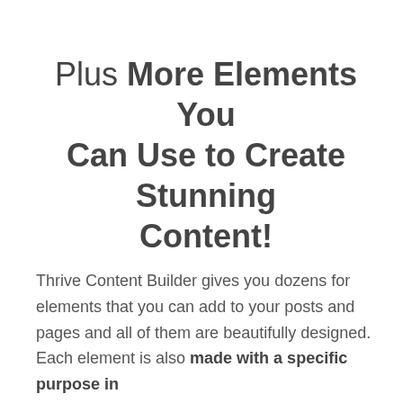Plus More Elements You Can Use to Create Stunning Content!
Thrive Content Builder gives you dozens for elements that you can add to your posts and pages and all of them are beautifully designed. Each element is also made with a specific purpose in